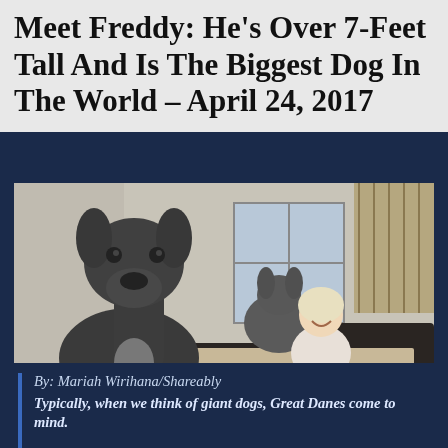Meet Freddy: He's Over 7-Feet Tall And Is The Biggest Dog In The World – April 24, 2017
[Figure (photo): A very large grey Great Dane dog standing upright in a backyard patio area, towering over a smiling blonde woman sitting on outdoor wicker furniture. A second smaller dog is visible behind the large dog. The yard has artificial green grass and a wooden fence in the background.]
By: Mariah Wirihana/Shareably
Typically, when we think of giant dogs, Great Danes come to mind.